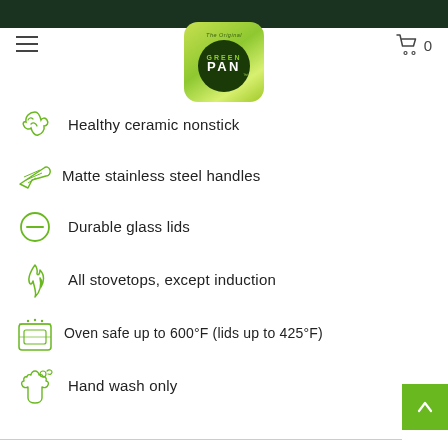[Figure (logo): GreenPan logo on green gradient rounded square background]
Healthy ceramic nonstick
Matte stainless steel handles
Durable glass lids
All stovetops, except induction
Oven safe up to 600°F (lids up to 425°F)
Hand wash only